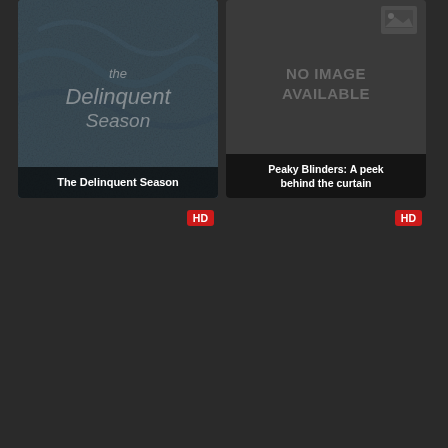[Figure (screenshot): Movie/show card for 'The Delinquent Season' with dark bluish-grey background showing crumpled fabric texture and stylized title text overlay, with title banner at bottom]
The Delinquent Season
[Figure (screenshot): Movie/show card showing 'NO IMAGE AVAILABLE' placeholder with dark grey background and a small image icon at top right, with title banner at bottom]
Peaky Blinders: A peek behind the curtain